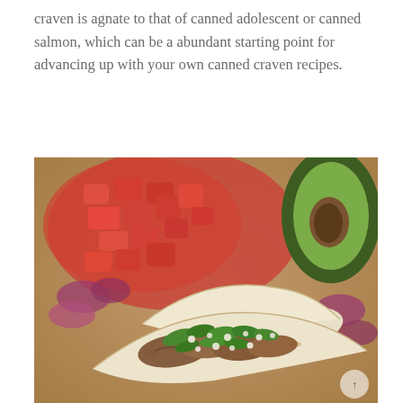craven is agnate to that of canned adolescent or canned salmon, which can be a abundant starting point for advancing up with your own canned craven recipes.
[Figure (photo): Close-up photo of tacos filled with grilled chicken, fresh cilantro, diced onions, and crumbled white cheese, with diced tomatoes and a halved avocado blurred in the background on a wooden surface.]